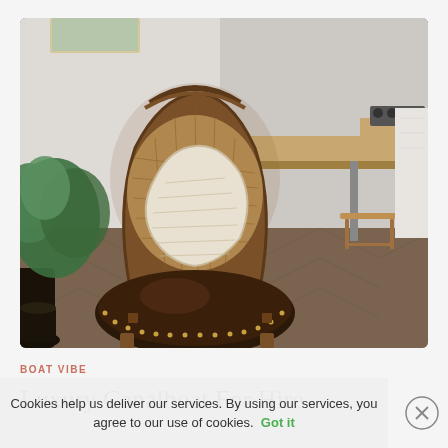[Figure (photo): Interior of a luxury canal boat showing a vintage rattan-backed armchair with a dark brown leather seat cushion and a cream knitted pillow, a wooden bar-height counter/kitchen area in the background, a wooden stool, herringbone patterned wood flooring, and a potted green plant on the left side.]
BOAT VIBE
Luxury canalboat for hire
Cookies help us deliver our services. By using our services, you agree to our use of cookies. Got it